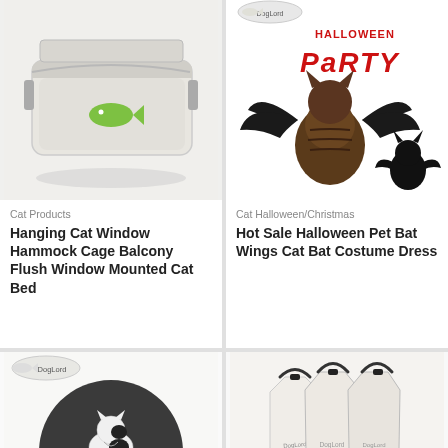[Figure (photo): Cat window hammock/bed product photo - white/grey hammock with green fish design]
Cat Products
Hanging Cat Window Hammock Cage Balcony Flush Window Mounted Cat Bed
[Figure (photo): Halloween Party themed photo with cat wearing bat wings costume and small black bat decoration. Red text reads 'HALLOWEEN PARTY'. DogLord logo badge.]
Cat Halloween/Christmas
Hot Sale Halloween Pet Bat Wings Cat Bat Costume Dress
[Figure (photo): Black and white cat on dark felt mat with yellow dots, DogLord badge top left]
[Figure (photo): Beige/white canvas bags with DogLord branding, green scroll-to-top button visible]